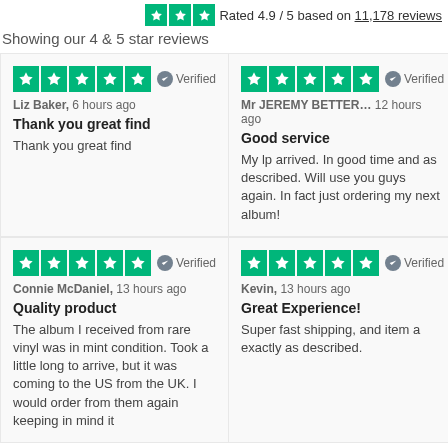Rated 4.9 / 5 based on 11,178 reviews
Showing our 4 & 5 star reviews
Liz Baker, 6 hours ago
Thank you great find
Thank you great find
Mr JEREMY BETTER... 12 hours ago
Good service
My lp arrived. In good time and as described. Will use you guys again. In fact just ordering my next album!
Connie McDaniel, 13 hours ago
Quality product
The album I received from rare vinyl was in mint condition. Took a little long to arrive, but it was coming to the US from the UK. I would order from them again keeping in mind it
Kevin, 13 hours ago
Great Experience!
Super fast shipping, and item a exactly as described.